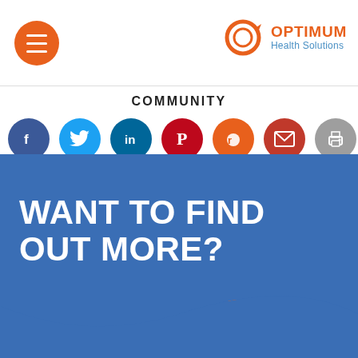[Figure (logo): Optimum Health Solutions logo with orange circular arrow icon and orange OPTIMUM text and blue Health Solutions text]
[Figure (infographic): Orange hamburger menu button (circle with three horizontal lines)]
COMMUNITY
[Figure (infographic): Row of seven social media share icons: Facebook (blue), Twitter (light blue), LinkedIn (dark blue), Pinterest (red), Reddit (orange), Email (dark red), Print (grey)]
WANT TO FIND OUT MORE?
[Figure (infographic): Partially visible orange-bordered rounded button outline at bottom of blue banner]
[Figure (illustration): Blue wave footer graphic at bottom of page]